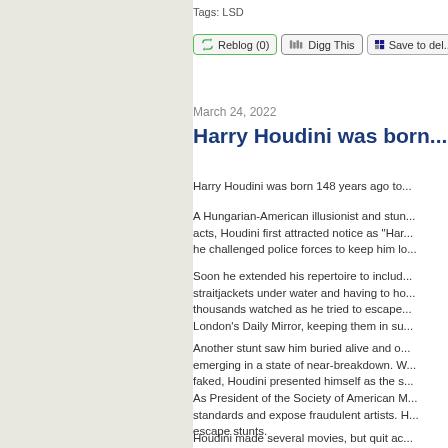Tags: LSD
Reblog (0)   Digg This   Save to del...
March 24, 2022
Harry Houdini was born...
Harry Houdini was born 148 years ago to...
A Hungarian-American illusionist and stun... acts, Houdini first attracted notice as "Har... he challenged police forces to keep him lo...
Soon he extended his repertoire to includ... straitjackets under water and having to ho... thousands watched as he tried to escape... London's Daily Mirror, keeping them in su...
Another stunt saw him buried alive and o... emerging in a state of near-breakdown. W... faked, Houdini presented himself as the s...
As President of the Society of American M... standards and expose fraudulent artists. H... escape stunts.
Houdini made several movies, but quit ac... a keen aviator, and aimed to become the...
Houdini died of peritonitis, secondary to...